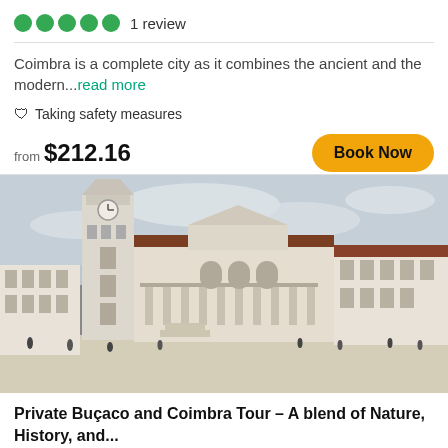1 review
Coimbra is a complete city as it combines the ancient and the modern...read more
Taking safety measures
from $212.16
[Figure (photo): Panoramic view of the University of Coimbra courtyard featuring a tall clock tower on the left, an ornate baroque building with arched colonnades in the center, and additional historic buildings on the right. People are visible in the open courtyard under an overcast sky.]
Private Buçaco and Coimbra Tour – A blend of Nature, History, and...